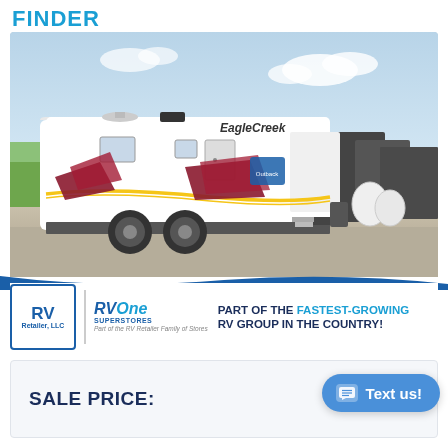FINDER
[Figure (photo): White travel trailer RV (Eagle Creek brand) parked in a lot, with red and yellow graphic accents, dual axle wheels, slide-out on right side; other RVs visible in background; clear sky with some clouds.]
RV Retailer, LLC | RV One Superstores — Part of the RV Retailer Family of Stores — PART OF THE FASTEST-GROWING RV GROUP IN THE COUNTRY!
SALE PRICE: $1⁠[partially obscured by Text us! button, showing $1X,XXX]
Text us!